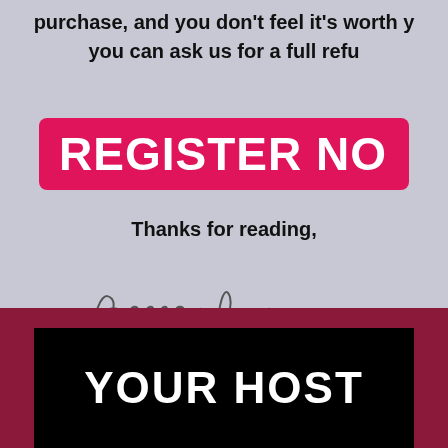purchase, and you don't feel it's worth y you can ask us for a full refu
[Figure (other): Pink/magenta register now button with white bold text 'REGISTER NO']
Thanks for reading,
[Figure (illustration): Handwritten cursive signature reading 'Rachael Jayne']
YOUR HOST